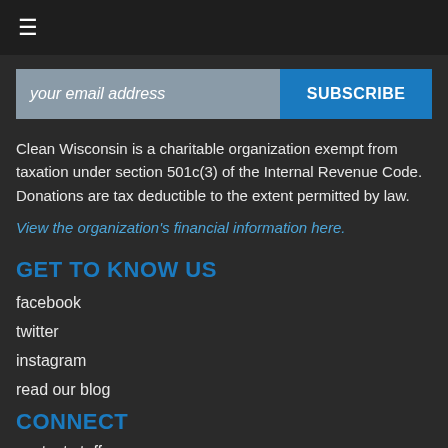≡
[Figure (other): Email subscription bar with 'your email address' input field and 'SUBSCRIBE' button]
Clean Wisconsin is a charitable organization exempt from taxation under section 501c(3) of the Internal Revenue Code. Donations are tax deductible to the extent permitted by law.
View the organization's financial information here.
GET TO KNOW US
facebook
twitter
instagram
read our blog
CONNECT
contact staff